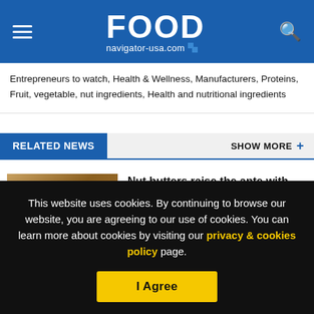FOOD navigator-usa.com
Entrepreneurs to watch, Health & Wellness, Manufacturers, Proteins, Fruit, vegetable, nut ingredients, Health and nutritional ingredients
RELATED NEWS
SHOW MORE +
[Figure (photo): Jar of nut butter with nuts scattered around it on a brown background]
Nut butters raise the ante with innovative packaging and sophisticated flavors
This website uses cookies. By continuing to browse our website, you are agreeing to our use of cookies. You can learn more about cookies by visiting our privacy & cookies policy page.
I Agree